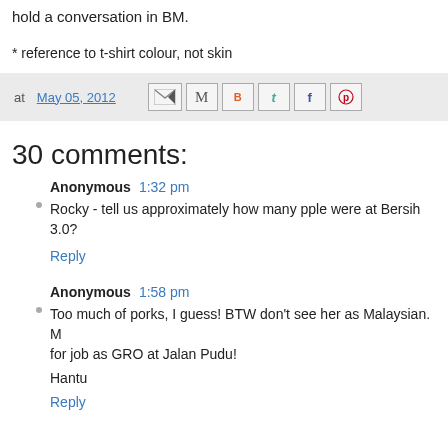hold a conversation in BM.
* reference to t-shirt colour, not skin
at May 05, 2012  [share icons]
30 comments:
Anonymous  1:32 pm
Rocky - tell us approximately how many pple were at Bersih 3.0?
Reply
Anonymous  1:58 pm
Too much of porks, I guess! BTW don't see her as Malaysian. M for job as GRO at Jalan Pudu!

Hantu
Reply